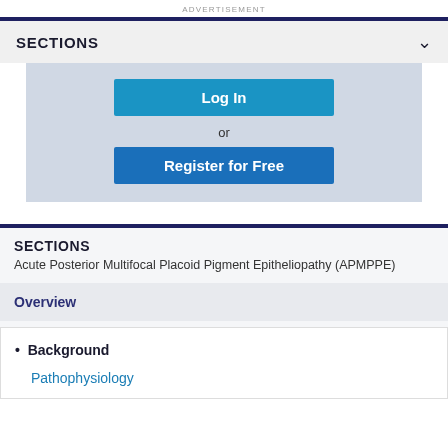ADVERTISEMENT
SECTIONS
Log In
or
Register for Free
SECTIONS
Acute Posterior Multifocal Placoid Pigment Epitheliopathy (APMPPE)
Overview
Background
Pathophysiology